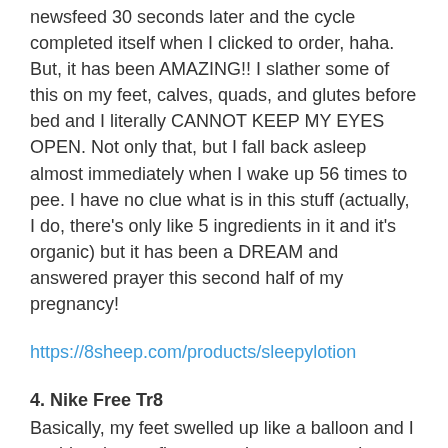newsfeed 30 seconds later and the cycle completed itself when I clicked to order, haha. But, it has been AMAZING!! I slather some of this on my feet, calves, quads, and glutes before bed and I literally CANNOT KEEP MY EYES OPEN. Not only that, but I fall back asleep almost immediately when I wake up 56 times to pee. I have no clue what is in this stuff (actually, I do, there's only like 5 ingredients in it and it's organic) but it has been a DREAM and answered prayer this second half of my pregnancy!
https://8sheep.com/products/sleepylotion
4. Nike Free Tr8
Basically, my feet swelled up like a balloon and I could no longer fit my sneakers on to workout and we were in crisis mode, haha. I also couldn't wear my ballet shoes when teaching anymore as my arches were killing me. I found these online, stalked them like a hawk until they went on sale in my size, and I snicked and I bought them, so, and I